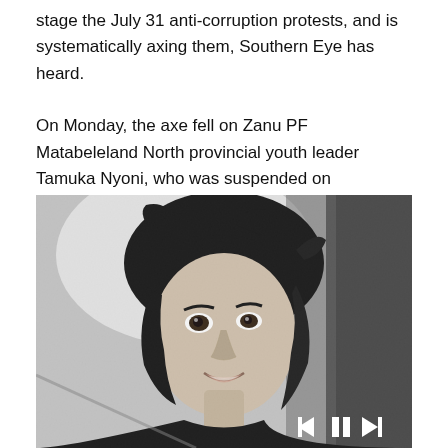stage the July 31 anti-corruption protests, and is systematically axing them, Southern Eye has heard.

On Monday, the axe fell on Zanu PF Matabeleland North provincial youth leader Tamuka Nyoni, who was suspended on allegations of working against the party.
[Figure (photo): Black and white photograph of a young person with medium-length dark hair, looking slightly upward and smiling. Media player controls (previous, pause, next) are visible in the bottom-right corner of the image.]